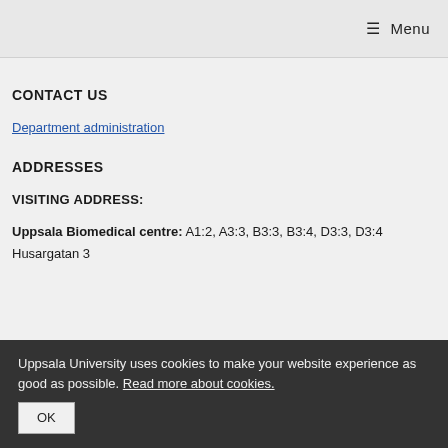☰ Menu
CONTACT US
Department administration
ADDRESSES
VISITING ADDRESS:
Uppsala Biomedical centre: A1:2, A3:3, B3:3, B3:4, D3:3, D3:4
Husargatan 3
Uppsala University uses cookies to make your website experience as good as possible. Read more about cookies. OK